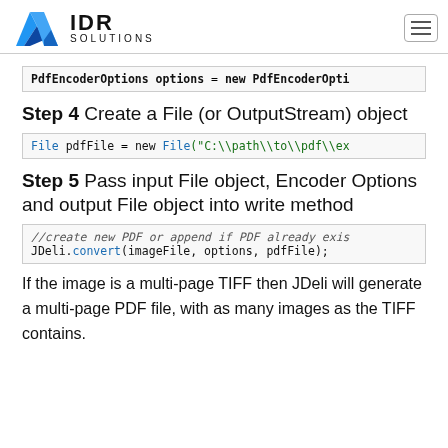IDR SOLUTIONS
PdfEncoderOptions options = new PdfEncoderOpti
Step 4 Create a File (or OutputStream) object
File pdfFile = new File("C:\\path\\to\\pdf\\ex
Step 5 Pass input File object, Encoder Options and output File object into write method
//create new PDF or append if PDF already exis
JDeli.convert(imageFile, options, pdfFile);
If the image is a multi-page TIFF then JDeli will generate a multi-page PDF file, with as many images as the TIFF contains.